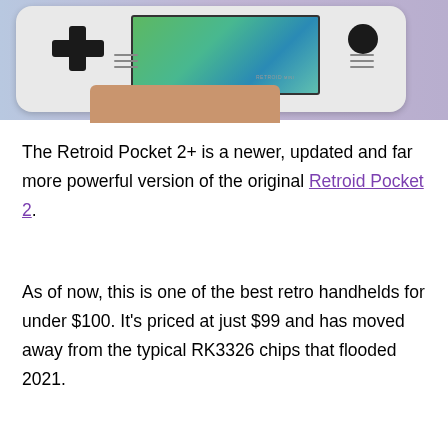[Figure (photo): Photo of a Retroid Pocket 2+ handheld gaming device being held by a hand against a purple/blue background. The device is white/light grey with a D-pad on the left, joystick on the right, a color screen showing a game, speaker grilles, and small buttons in the center.]
The Retroid Pocket 2+ is a newer, updated and far more powerful version of the original Retroid Pocket 2.
As of now, this is one of the best retro handhelds for under $100. It's priced at just $99 and has moved away from the typical RK3326 chips that flooded 2021.